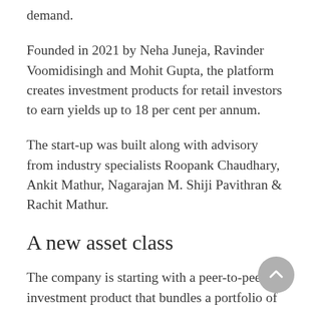demand.
Founded in 2021 by Neha Juneja, Ravinder Voomidisingh and Mohit Gupta, the platform creates investment products for retail investors to earn yields up to 18 per cent per annum.
The start-up was built along with advisory from industry specialists Roopank Chaudhary, Ankit Mathur, Nagarajan M. Shiji Pavithran & Rachit Mathur.
A new asset class
The company is starting with a peer-to-peer investment product that bundles a portfolio of